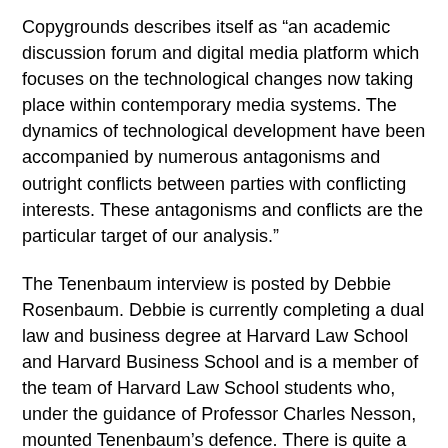Copygrounds describes itself as “an academic discussion forum and digital media platform which focuses on the technological changes now taking place within contemporary media systems. The dynamics of technological development have been accompanied by numerous antagonisms and outright conflicts between parties with conflicting interests. These antagonisms and conflicts are the particular target of our analysis.”
The Tenenbaum interview is posted by Debbie Rosenbaum. Debbie is currently completing a dual law and business degree at Harvard Law School and Harvard Business School and is a member of the team of Harvard Law School students who, under the guidance of Professor Charles Nesson, mounted Tenenbaum’s defence. There is quite a large blogging team with some pretty impressive CVs, so a site well worth watching.
The site is open and welcomes public commentary – but also says “as this is primarily a student project, commentary which is not suitable for a classroom setting will be